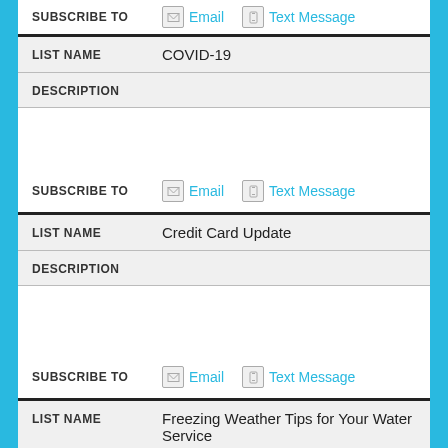SUBSCRIBE TO  Email  Text Message
| LIST NAME | COVID-19 |
| --- | --- |
| DESCRIPTION |  |
| --- | --- |
SUBSCRIBE TO  Email  Text Message
| LIST NAME | Credit Card Update |
| --- | --- |
| DESCRIPTION |  |
| --- | --- |
SUBSCRIBE TO  Email  Text Message
| LIST NAME | Freezing Weather Tips for Your Water Service |
| --- | --- |
| DESCRIPTION |  |
| --- | --- |